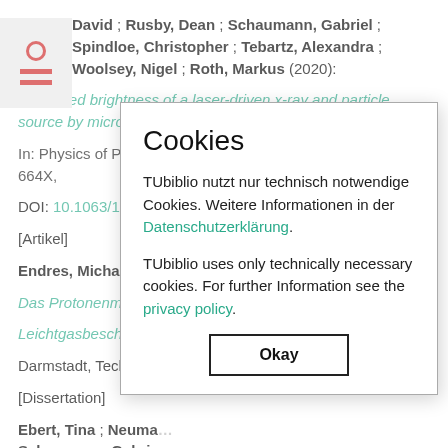David ; Rusby, Dean ; Schaumann, Gabriel ; Spindloe, Christopher ; Tebartz, Alexandra ; Woolsey, Nigel ; Roth, Markus (2020):
Enhanced brightness of a laser-driven x-ray and particle source by microstructured surfaces of silicon targets.
In: Physics of Plasmas, 27 (4), AIP Publishing, ISSN 1070-664X,
DOI: 10.1063/1.5125...
[Artikel]
Endres, Michael (20...
Das Protonenmikrosk...
Leichtgasbeschleunig...
Darmstadt, Technisc...
[Dissertation]
Ebert, Tina ; Neuma... Schaumann, Gabrie...
Laser-induced micros... acceleration experiments.
In: Laser and Particle Beams, 5, Special Is...
[Figure (screenshot): Cookie consent modal dialog on TUbiblio website. Title: Cookies. Text: TUbiblio nutzt nur technisch notwendige Cookies. Weitere Informationen in der Datenschutzerklärung. TUbiblio uses only technically necessary cookies. For further Information see the privacy policy. Button: Okay]